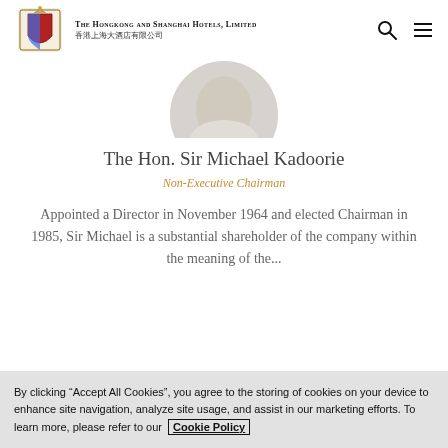The Hongkong and Shanghai Hotels, Limited 香港上海大酒店有限公司
[Figure (photo): Circular cropped portrait photo of The Hon. Sir Michael Kadoorie, partially visible from top]
The Hon. Sir Michael Kadoorie
Non-Executive Chairman
Appointed a Director in November 1964 and elected Chairman in 1985, Sir Michael is a substantial shareholder of the company within the meaning of the...
[Figure (photo): Circular cropped portrait photo of a second person, partially visible at bottom]
By clicking “Accept All Cookies”, you agree to the storing of cookies on your device to enhance site navigation, analyze site usage, and assist in our marketing efforts. To learn more, please refer to our Cookie Policy